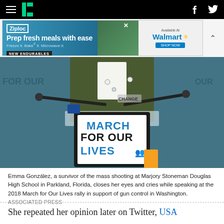HuffPost navigation with hamburger menu, logo, Facebook and Twitter icons
[Figure (other): Ziploc advertisement banner - Prep fresh meals with ease. Freeze it. Bake it. Microwave it. NEW ENDURABLES. Available at Walmart.]
[Figure (photo): Emma González speaking at a podium with a 'MARCH FOR OUR LIVES' sign at the 2018 March for Our Lives rally. She is wearing a green jacket with buttons/pins.]
Emma González, a survivor of the mass shooting at Marjory Stoneman Douglas High School in Parkland, Florida, closes her eyes and cries while speaking at the 2018 March for Our Lives rally in support of gun control in Washington. ASSOCIATED PRESS
She repeated her opinion later on Twitter, USA